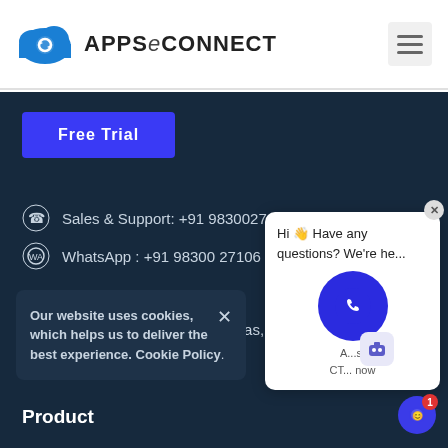[Figure (logo): APPSeCONNECT logo with blue cloud icon and company name]
[Figure (other): Hamburger menu icon (three horizontal lines)]
Free Trial
Sales & Support: +91 9830027106
WhatsApp : +91 98300 27106
US Office
7876 Buffaloberry Rd, Frisco, Texas, 75035, United States.
Our website uses cookies, which helps us to deliver the best experience. Cookie Policy.
...era, Action Area 1B, New To... West Bengal, India
Product
[Figure (other): Chat popup with phone button and text: Hi Have any questions? We're he... A...st CT... now]
[Figure (other): Chat notification badge with number 1]